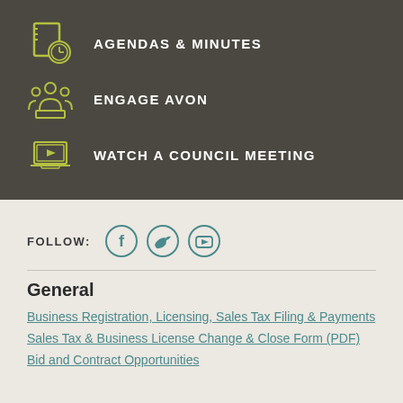AGENDAS & MINUTES
ENGAGE AVON
WATCH A COUNCIL MEETING
FOLLOW:
[Figure (illustration): Social media icons: Facebook, Twitter, YouTube]
General
Business Registration, Licensing, Sales Tax Filing & Payments
Sales Tax & Business License Change & Close Form (PDF)
Bid and Contract Opportunities